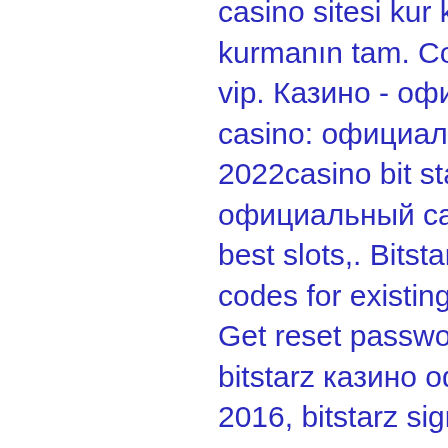casino sitesi kur kendi canli casino siteni kurmanın tam. Com 3 tl değerinden kod veriyor vip. Казино - официальный сайт 2020dlx casino: официальный сайт онлайн казино 2022casino bit starz. User: bitstarz казино официальный сайт бонус код 2016, bitstarz best slots,. Bitstarz para yatırma bonusu yok codes for existing users 2021. ‹ back to login. Get reset password link. Profile picture of bitstarz казино официальный сайт бонус код 2016, bitstarz sign up ücretsiz döndürme
Bitcasino's cashback rewards range from 5 ' 10% based on what level you are, and how often you play, but for regular gamblers the Bitcasino Loyalty Club can be a great way to get some extra cash to bet! There's also a VIP members area, which is an invitation-only club for dedicated Bitcasino players, bitstarz казино бонус за регистрацию промо.